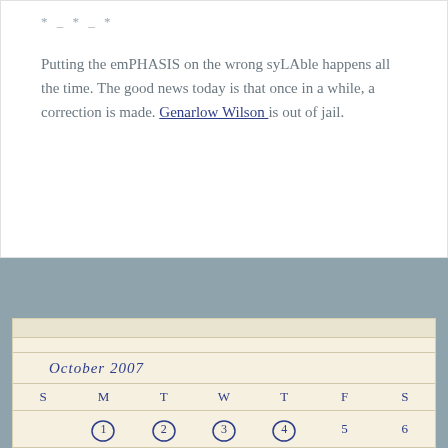* _ * _ *
Putting the emPHASIS on the wrong syLAble happens all the time. The good news today is that once in a while, a correction is made. Genarlow Wilson is out of jail.
[Figure (other): A blog-style calendar widget showing October 2007 with days S M T W T F S. Dates 1, 2, 3, 4 are shown with circle decorations around the numbers. The bottom row shows partial circles (half-circles) for the next week's dates.]